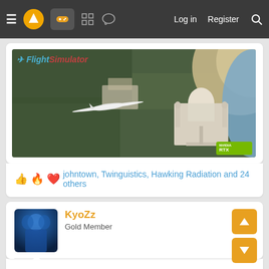Log in  Register
[Figure (screenshot): Microsoft Flight Simulator screenshot showing aerial view of the Taj Mahal area with a glider aircraft, NVIDIA RTX badge in corner]
johntown, Twinguistics, Hawking Radiation and 24 others
KyoZz
Gold Member
Apr 24, 2021
Drone Knife said: